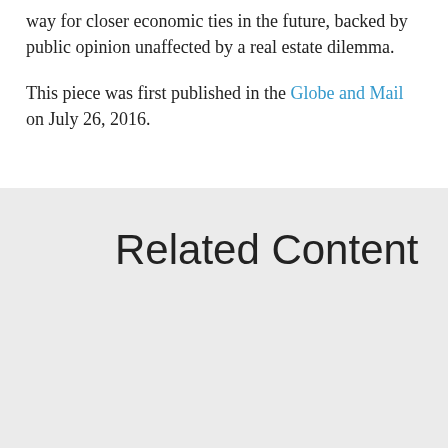way for closer economic ties in the future, backed by public opinion unaffected by a real estate dilemma.
This piece was first published in the Globe and Mail on July 26, 2016.
Related Content
[Figure (photo): Photo of a crowd of people overlaid with text 'Listen to our latest podcast series' and a subtitle 'Tech and the Global South' on an orange/tan banner at the bottom. A blue bar appears at the top and a white arrow cursor icon is visible at top right.]